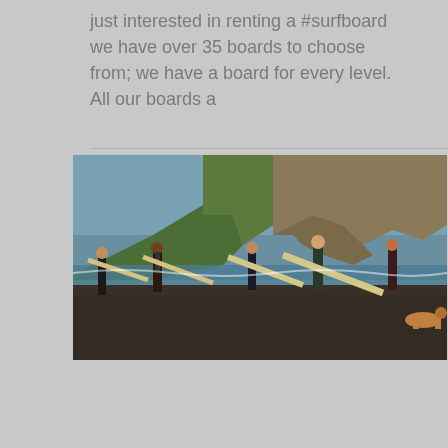just interested in renting a #surfboard we have over 35 boards to choose from; we have a board for every level. All our boards a
[Figure (photo): Group of surfers walking along a dark sandy beach carrying surfboards, with a large green cliff headland in the background and ocean visible.]
Welcome to Otra Ola the